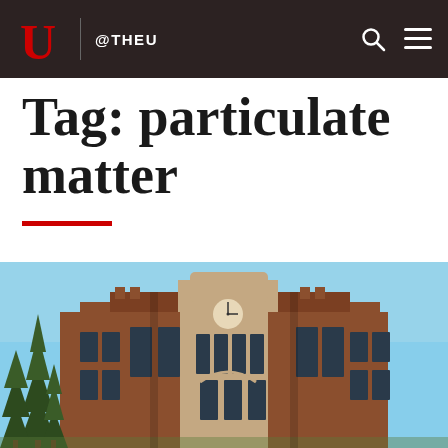@THEU
Tag: particulate matter
[Figure (photo): Exterior photograph of a red-brick university building with tall windows, stone detailing, and a clock tower, with evergreen trees in the foreground against a blue sky.]